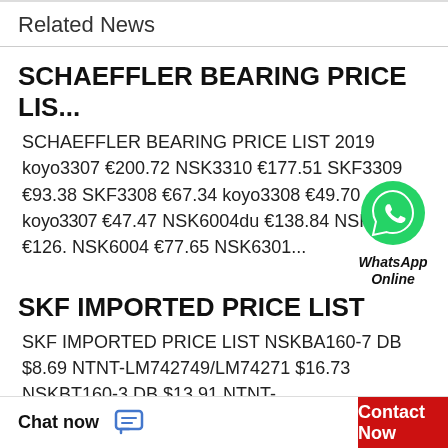Related News
SCHAEFFLER BEARING PRICE LIS...
SCHAEFFLER BEARING PRICE LIST 2019 koyo3307 €200.72 NSK3310 €177.51 SKF3309 €93.38 SKF3308 €67.34 koyo3308 €49.70 koyo3307 €47.47 NSK6004du €138.84 NSK6004 €126. NSK6004 €77.65 NSK6301...
SKF IMPORTED PRICE LIST
SKF IMPORTED PRICE LIST NSKBA160-7 DB $8.69 NTNT-LM742749/LM74271 $16.73 NSKBT160-3 DB $13.91 NTNT-LM742747/LM74271 $92.12 NSKBT160-51 DB $139.09 NTNT-
Chat now   Contact Now